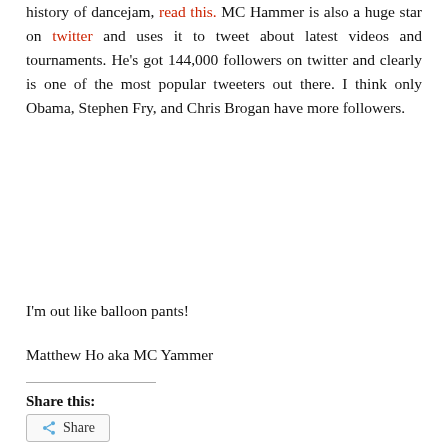history of dancejam, read this. MC Hammer is also a huge star on twitter and uses it to tweet about latest videos and tournaments. He's got 144,000 followers on twitter and clearly is one of the most popular tweeters out there. I think only Obama, Stephen Fry, and Chris Brogan have more followers.
I'm out like balloon pants!
Matthew Ho aka MC Yammer
Share this:
Share
February 28, 2009
Matthew Ho
1 Comment
MC Hammer, social bookmarking, social media, video, Websites you should check out, yammer
balloon pants, chris brogan, dancejam, keyword, M C